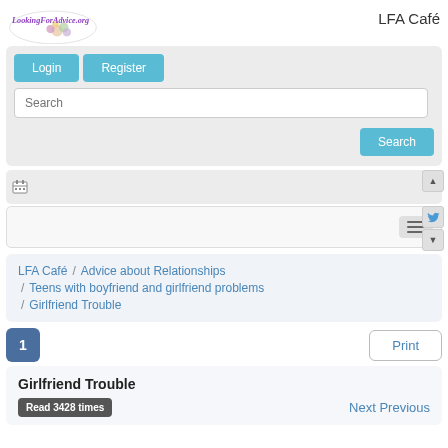[Figure (logo): LookingForAdvice.org logo with floral design]
LFA Café
Login  Register  Search  Search
[Figure (screenshot): Toolbar with calendar icon and navigation arrows, with twitter bird icon on sidebar]
LFA Café / Advice about Relationships / Teens with boyfriend and girlfriend problems / Girlfriend Trouble
1   Print
Girlfriend Trouble
Read 3428 times
Next Previous